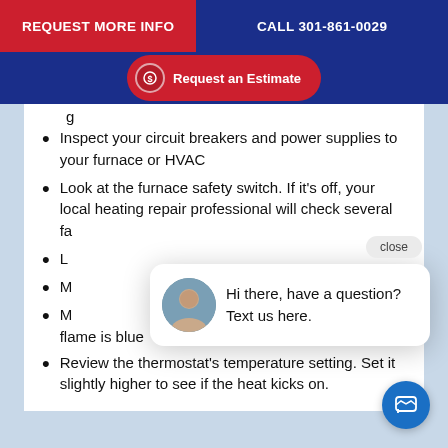REQUEST MORE INFO | CALL 301-861-0029
[Figure (screenshot): Blue navigation bar with red 'Request an Estimate' button]
Inspect your circuit breakers and power supplies to your furnace or HVAC
Look at the furnace safety switch. If it’s off, your local heating repair professional will check several fa[ctors]
L[ook at...]
M[ake sure...]
M[ake sure the pilot] flame is blue
Review the thermostat’s temperature setting. Set it slightly higher to see if the heat kicks on.
[Figure (screenshot): Live chat popup with avatar photo and message: Hi there, have a question? Text us here. Close button at top right.]